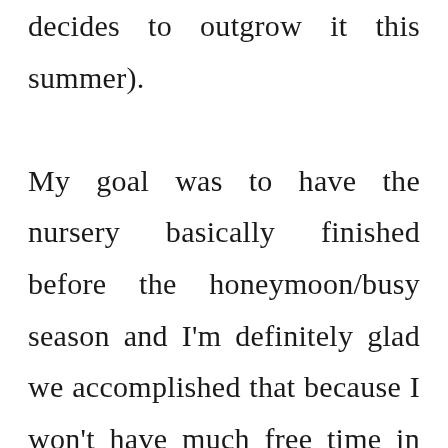decides to outgrow it this summer). My goal was to have the nursery basically finished before the honeymoon/busy season and I'm definitely glad we accomplished that because I won't have much free time in my 3rd trimester! I can't wait to share final pictures later this month! 🙂